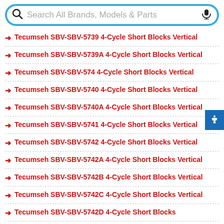[Figure (screenshot): Search box with magnifying glass icon and microphone icon, placeholder text 'Search All Brands, Models & Parts', blue rounded border]
→ Tecumseh SBV-SBV-5739 4-Cycle Short Blocks Vertical
→ Tecumseh SBV-SBV-5739A 4-Cycle Short Blocks Vertical
→ Tecumseh SBV-SBV-574 4-Cycle Short Blocks Vertical
→ Tecumseh SBV-SBV-5740 4-Cycle Short Blocks Vertical
→ Tecumseh SBV-SBV-5740A 4-Cycle Short Blocks Vertical
→ Tecumseh SBV-SBV-5741 4-Cycle Short Blocks Vertical
→ Tecumseh SBV-SBV-5742 4-Cycle Short Blocks Vertical
→ Tecumseh SBV-SBV-5742A 4-Cycle Short Blocks Vertical
→ Tecumseh SBV-SBV-5742B 4-Cycle Short Blocks Vertical
→ Tecumseh SBV-SBV-5742C 4-Cycle Short Blocks Vertical
→ Tecumseh SBV-SBV-5742D 4-Cycle Short Blocks